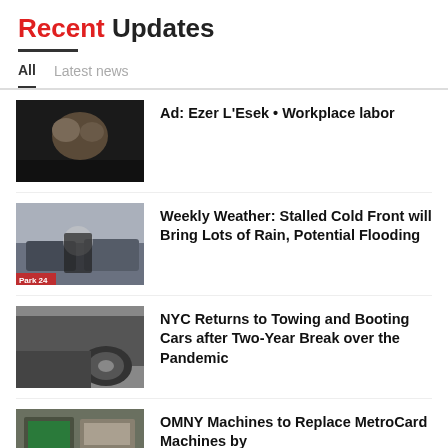Recent Updates
All
Latest news
Ad: Ezer L'Esek • Workplace labor
Weekly Weather: Stalled Cold Front will Bring Lots of Rain, Potential Flooding
NYC Returns to Towing and Booting Cars after Two-Year Break over the Pandemic
OMNY Machines to Replace MetroCard Machines by